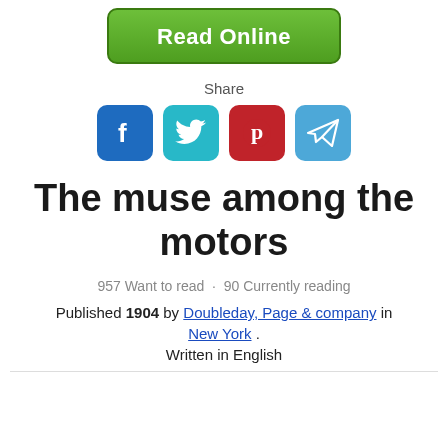[Figure (other): Green 'Read Online' button]
Share
[Figure (other): Social share icons: Facebook, Twitter, Pinterest, Telegram]
The muse among the motors
957 Want to read · 90 Currently reading
Published 1904 by Doubleday, Page & company in New York . Written in English